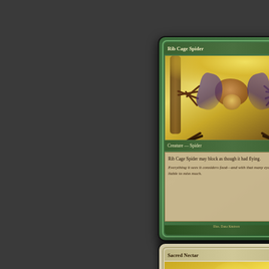[Figure (illustration): Magic: The Gathering card - Rib Cage Spider. A green creature card (2G mana cost) showing a large spider with many legs illustrated against a yellow-green background with trees. Creature type Spider, with rules text 'Rib Cage Spider may block as though it had flying.' and flavor text about food. Power/toughness 1/4. Illustrated by Dana Knutson.]
[Figure (illustration): Magic: The Gathering card - Sacred Nectar. A white card (1W mana cost) partially visible, showing a golden bowl or chalice glowing with light illustrated against a golden-yellow background.]